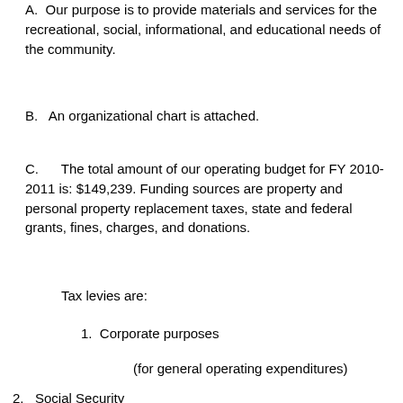A.  Our purpose is to provide materials and services for the recreational, social, informational, and educational needs of the community.
B.   An organizational chart is attached.
C.     The total amount of our operating budget for FY 2010- 2011 is: $149,239. Funding sources are property and personal property replacement taxes, state and federal grants, fines, charges, and donations.
Tax levies are:
1.  Corporate purposes
(for general operating expenditures)
2.   Social Security
(provides for employee's ICA      costs and related